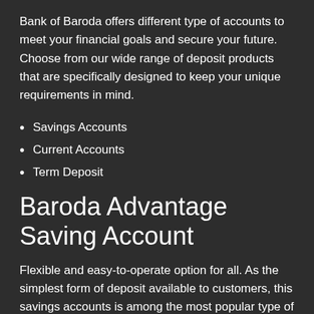Bank of Baroda offers different type of accounts to meet your financial goals and secure your future. Choose from our wide range of deposit products that are specifically designed to keep your unique requirements in mind.
Savings Accounts
Current Accounts
Term Deposit
Baroda Advantage Saving Account
Flexible and easy-to-operate option for all. As the simplest form of deposit available to customers, this savings accounts is among the most popular type of bank deposits.